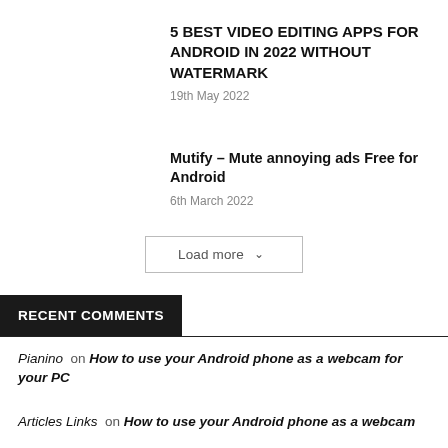5 BEST VIDEO EDITING APPS FOR ANDROID IN 2022 WITHOUT WATERMARK
19th May 2022
Mutify – Mute annoying ads Free for Android
6th March 2022
Load more
RECENT COMMENTS
Pianino on How to use your Android phone as a webcam for your PC
Articles Links on How to use your Android phone as a webcam